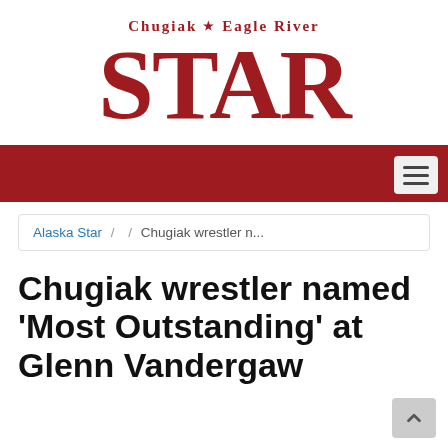[Figure (logo): Chugiak Eagle River Star newspaper masthead logo with large red serif STAR text and subtitle]
Chugiak ★ Eagle River STAR
Alaska Star / Chugiak wrestler n...
Chugiak wrestler named 'Most Outstanding' at Glenn Vandergaw